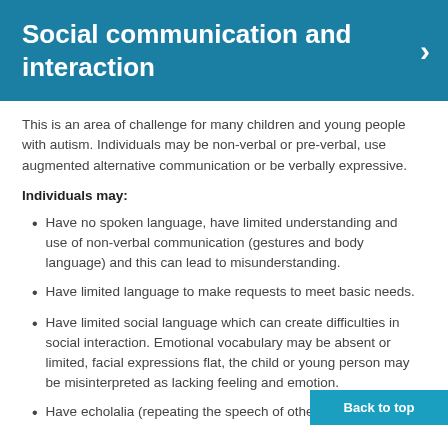Social communication and interaction
This is an area of challenge for many children and young people with autism. Individuals may be non-verbal or pre-verbal, use augmented alternative communication or be verbally expressive.
Individuals may:
Have no spoken language, have limited understanding and use of non-verbal communication (gestures and body language) and this can lead to misunderstanding.
Have limited language to make requests to meet basic needs.
Have limited social language which can create difficulties in social interaction. Emotional vocabulary may be absent or limited, facial expressions flat, the child or young person may be misinterpreted as lacking feeling and emotion.
Have echolalia (repeating the speech of othe...